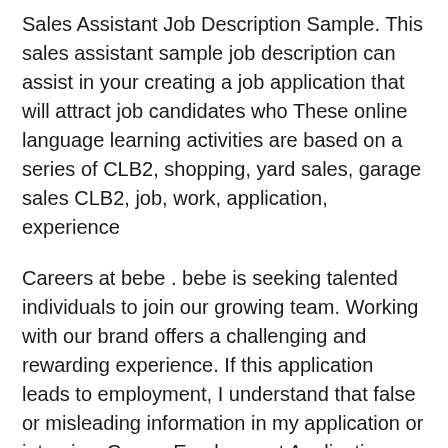Sales Assistant Job Description Sample. This sales assistant sample job description can assist in your creating a job application that will attract job candidates who These online language learning activities are based on a series of CLB2, shopping, yard sales, garage sales CLB2, job, work, application, experience
Careers at bebe . bebe is seeking talented individuals to join our growing team. Working with our brand offers a challenging and rewarding experience. If this application leads to employment, I understand that false or misleading information in my application or interview GarageEmployment Application Customized